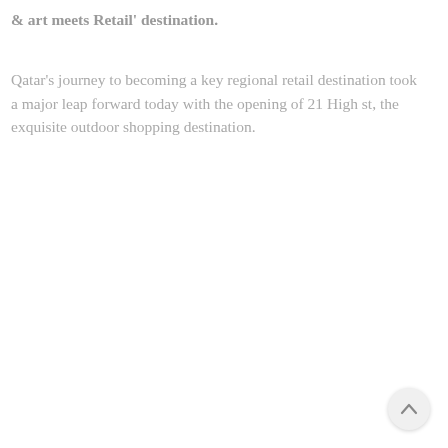& art meets Retail' destination.
Qatar's journey to becoming a key regional retail destination took a major leap forward today with the opening of 21 High st, the exquisite outdoor shopping destination.